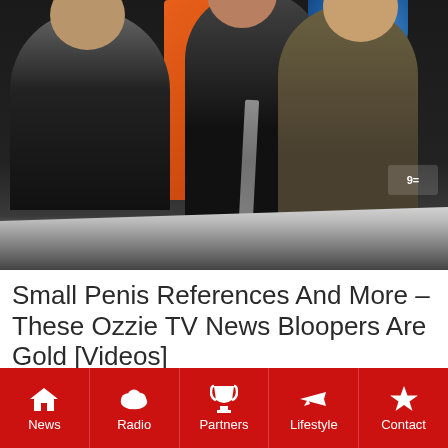[Figure (screenshot): Television news studio scene showing three people at a news desk. An older man in a dark suit on the left, a man in a dark suit leaning toward a woman in the center, and a woman in an olive/brown outfit on the right. An orange pillar and blue logo are visible in the background. Channel 9 logo visible bottom right.]
Small Penis References And More – These Ozzie TV News Bloopers Are Gold [Videos]
News | Radio | Partners | Lifestyle | Contact